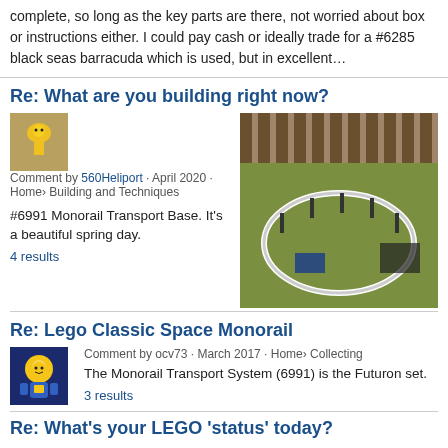complete, so long as the key parts are there, not worried about box or instructions either. I could pay cash or ideally trade for a #6285 black seas barracuda which is used, but in excellent…
Re: What are you building right now?
Comment by 560Heliport · April 2020 · Home › Building and Techniques
#6991 Monorail Transport Base. It's a beautiful spring day.
4 results
[Figure (photo): Small thumbnail of a yellow LEGO minifigure bird]
[Figure (photo): Outdoor photo of a LEGO monorail track layout on green surface with fence in background]
Re: Lego Classic Space Monorail
Comment by ocv73 · March 2017 · Home › Collecting
&#13; The Monorail Transport System (6991) is the Futuron set.
3 results
[Figure (photo): Small thumbnail of a LEGO classic space minifigure]
Re: What's your LEGO 'status' today?